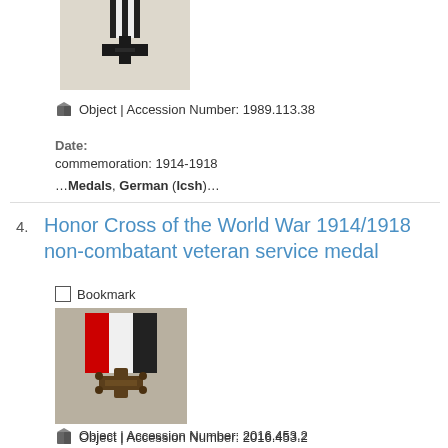[Figure (photo): Photo of a black Iron Cross medal with black and white striped ribbon, on light background]
Object | Accession Number: 1989.113.38
Date:
commemoration: 1914-1918
…Medals, German (lcsh)…
Honor Cross of the World War 1914/1918 non-combatant veteran service medal
Bookmark
[Figure (photo): Photo of a bronze Honor Cross medal with red, white, and black striped ribbon on gray background]
Object | Accession Number: 2016.453.2